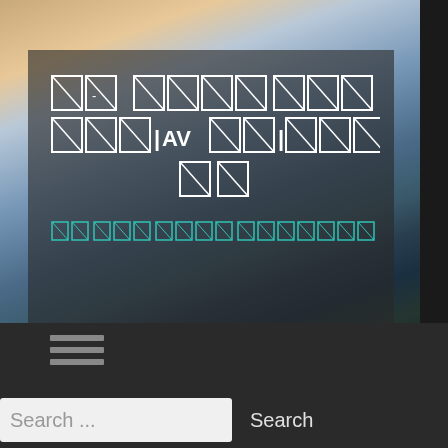[Figure (screenshot): Website screenshot showing a hero section with a landscape mountain/valley background image. An overlay dark semi-transparent card contains glitched/corrupted text (rendered as box-outlined characters with diagonal lines) in white for the title and teal/green for the subtitle. Below the image area is a dark navigation bar with a hamburger menu icon and a search bar with a text input field showing 'Search ...' and a 'Search' button.]